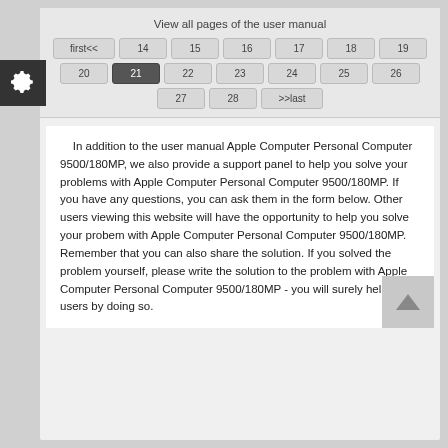View all pages of the user manual
first<<  14  15  16  17  18  19  20  21  22  23  24  25  26  27  28  >>last
In addition to the user manual Apple Computer Personal Computer 9500/180MP, we also provide a support panel to help you solve your problems with Apple Computer Personal Computer 9500/180MP. If you have any questions, you can ask them in the form below. Other users viewing this website will have the opportunity to help you solve your probem with Apple Computer Personal Computer 9500/180MP. Remember that you can also share the solution. If you solved the problem yourself, please write the solution to the problem with Apple Computer Personal Computer 9500/180MP - you will surely help many users by doing so.